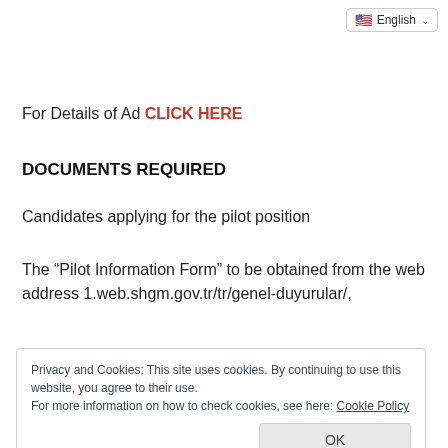English (language selector)
For Details of Ad CLICK HERE
DOCUMENTS REQUIRED
Candidates applying for the pilot position
The “Pilot Information Form” to be obtained from the web address 1.web.shgm.gov.tr/tr/genel-duyurular/,
Privacy and Cookies: This site uses cookies. By continuing to use this website, you agree to their use.
For more information on how to check cookies, see here: Cookie Policy